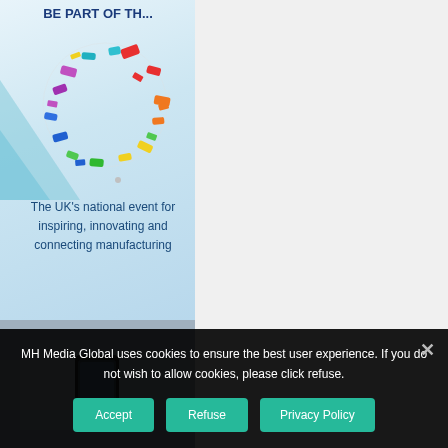[Figure (illustration): Colorful circular graphic with multicolored confetti-like shapes radiating outward, with text 'BE PART OF TH...' at the top, on a light blue gradient background. Part of the MACH 2022 exhibition advertisement.]
The UK's national event for inspiring, innovating and connecting manufacturing
[Figure (logo): MACH 2022 logo: 'MACH' in dark blue bold letters, '4-8 April NEC Birmingham UK' in a dark blue banner, '2022' in orange bold letters, and 'machexhibition.com' in orange below.]
[Figure (photo): Blurred photo showing a person holding a smartphone in an industrial or exhibition environment.]
MH Media Global uses cookies to ensure the best user experience. If you do not wish to allow cookies, please click refuse.